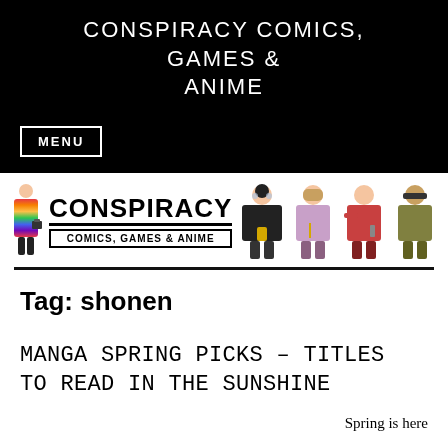CONSPIRACY COMICS, GAMES & ANIME
MENU
[Figure (logo): Conspiracy Comics, Games & Anime logo with rainbow-clad figure on left and text 'CONSPIRACY COMICS, GAMES & ANIME' in bold, plus four Harry Potter Funko Pop figures on right]
Tag: shonen
MANGA SPRING PICKS – TITLES TO READ IN THE SUNSHINE
Spring is here